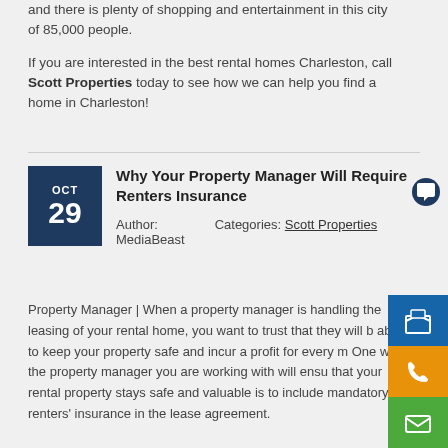and there is plenty of shopping and entertainment in this city of 85,000 people.
If you are interested in the best rental homes Charleston, call Scott Properties today to see how we can help you find a home in Charleston!
Why Your Property Manager Will Require Renters Insurance
Author: MediaBeast   Categories: Scott Properties
Property Manager | When a property manager is handling the leasing of your rental home, you want to trust that they will be able to keep your property safe and incur a profit for every month. One way the property manager you are working with will ensure that your rental property stays safe and valuable is to include mandatory renters' insurance in the lease agreement.